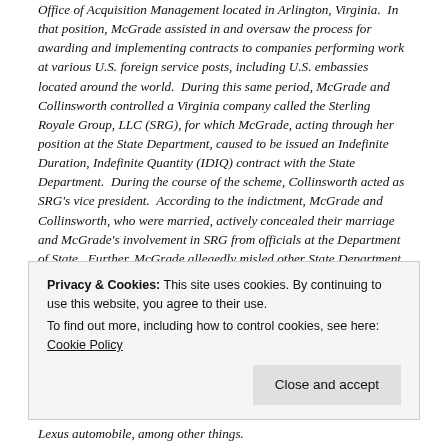Office of Acquisition Management located in Arlington, Virginia. In that position, McGrade assisted in and oversaw the process for awarding and implementing contracts to companies performing work at various U.S. foreign service posts, including U.S. embassies located around the world. During this same period, McGrade and Collinsworth controlled a Virginia company called the Sterling Royale Group, LLC (SRG), for which McGrade, acting through her position at the State Department, caused to be issued an Indefinite Duration, Indefinite Quantity (IDIQ) contract with the State Department. During the course of the scheme, Collinsworth acted as SRG's vice president. According to the indictment, McGrade and Collinsworth, who were married, actively concealed their marriage and McGrade's involvement in SRG from officials at the Department of State. Further, McGrade allegedly misled other State Department officials to believe she was a Contracting Officer while approving payments to SRG. All told, McGrade's role in the scheme allegedly
Privacy & Cookies: This site uses cookies. By continuing to use this website, you agree to their use.
To find out more, including how to control cookies, see here: Cookie Policy
Lexus automobile, among other things.